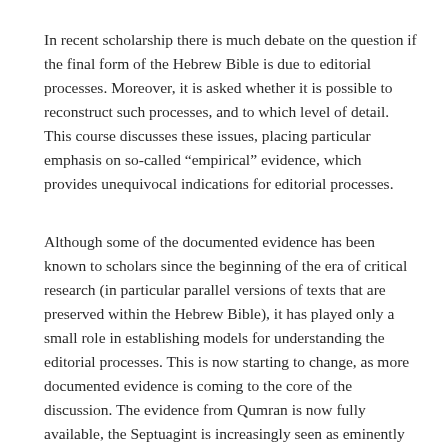In recent scholarship there is much debate on the question if the final form of the Hebrew Bible is due to editorial processes. Moreover, it is asked whether it is possible to reconstruct such processes, and to which level of detail. This course discusses these issues, placing particular emphasis on so-called “empirical” evidence, which provides unequivocal indications for editorial processes.
Although some of the documented evidence has been known to scholars since the beginning of the era of critical research (in particular parallel versions of texts that are preserved within the Hebrew Bible), it has played only a small role in establishing models for understanding the editorial processes. This is now starting to change, as more documented evidence is coming to the core of the discussion. The evidence from Qumran is now fully available, the Septuagint is increasingly seen as eminently relevant to the discussion, and the non-biblical evidence is also playing a larger role, as the Hebrew Bible is more and more seen as part of the wider ancient Near Eastern literature.